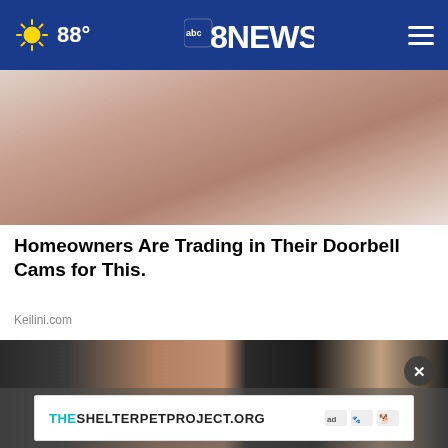88° abc8NEWS
[Figure (photo): Close-up photo showing a hand/skin texture on a woven fabric background]
Homeowners Are Trading in Their Doorbell Cams for This.
Keilini.com
[Figure (photo): Four people in formal evening wear (two men in tuxedos, two women) posing together at an event]
THESHELTERPETPROJECT.ORG